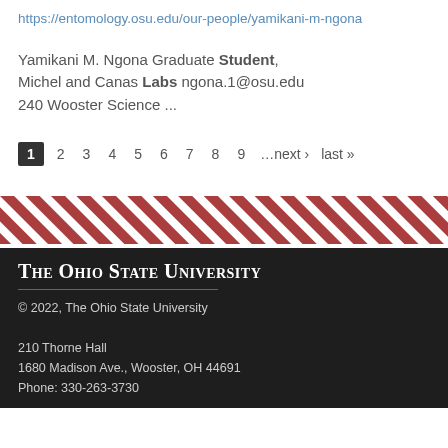https://entomology.osu.edu/our-people/yamikani-m-ngona
Yamikani M. Ngona Graduate Student, Michel and Canas Labs ngona.1@osu.edu 240 Wooster Science ...
1 2 3 4 5 6 7 8 9 …next › last »
[Figure (other): Diagonal red and white stripe divider band]
The Ohio State University
© 2022, The Ohio State University
210 Thorne Hall
1680 Madison Ave., Wooster, OH 44691
Phone: 330-263-3730